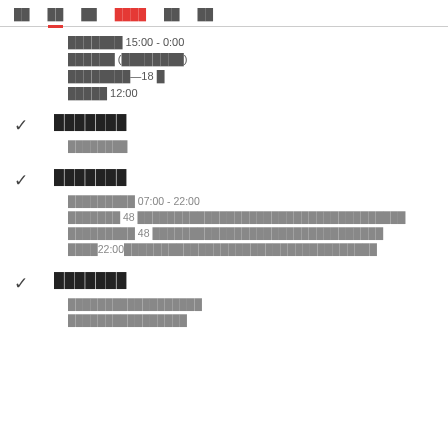██ ██ ██ ████ ██ ██
███████ 15:00 - 0:00
██████ (████████)
████████—18 █
████ 12:00
██████
████████
██████
█████████ 07:00 - 22:00
███████ 48 ████████████████████████████████
█████████ 48 ███████████████████████████
████22:00████████████████████████████
██████
██████████████████
████████████████